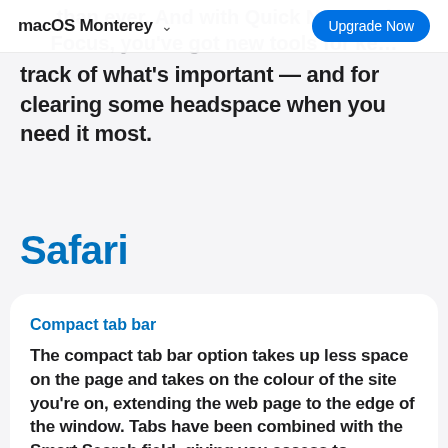macOS Monterey  Upgrade Now
than ever. And with Quick Note and Focus, you've got new tools for keeping track of what's important — and for clearing some headspace when you need it most.
Safari
Compact tab bar
The compact tab bar option takes up less space on the page and takes on the colour of the site you're on, extending the web page to the edge of the window. Tabs have been combined with the Smart Search field, giving you access to powerful Safari